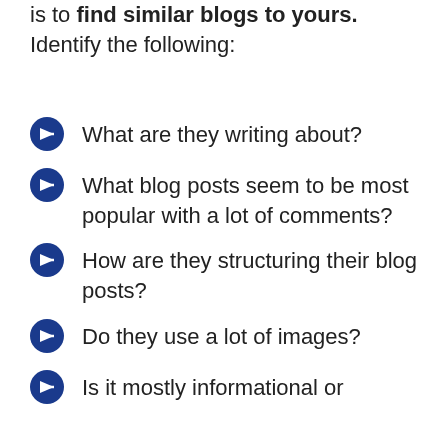is to find similar blogs to yours. Identify the following:
What are they writing about?
What blog posts seem to be most popular with a lot of comments?
How are they structuring their blog posts?
Do they use a lot of images?
Is it mostly informational or